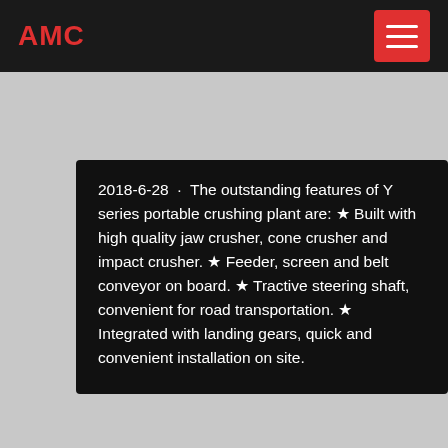AMC
2018-6-28 · The outstanding features of Y series portable crushing plant are: ★ Built with high quality jaw crusher, cone crusher and impact crusher. ★ Feeder, screen and belt conveyor on board. ★ Tractive steering shaft, convenient for road transportation. ★ Integrated with landing gears, quick and convenient installation on site.
pioneer roll crusher specifications
Pioneer Roll Crusher Specifications. Pe250400 simmon 4 14 cone crusher specifications roll mill stone crusher